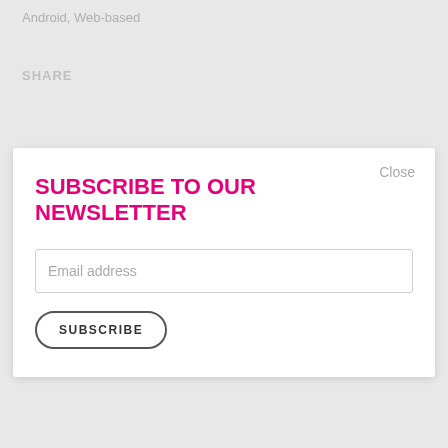Android, Web-based
SHARE
SUBSCRIBE TO OUR NEWSLETTER
Close
Email address
SUBSCRIBE